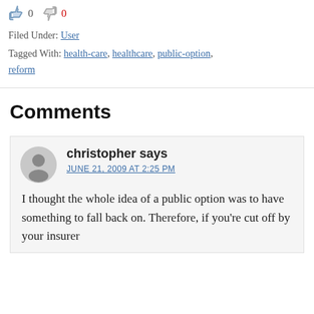👍 0 👎 0
Filed Under: User
Tagged With: health-care, healthcare, public-option, reform
Comments
christopher says
JUNE 21, 2009 AT 2:25 PM
I thought the whole idea of a public option was to have something to fall back on. Therefore, if you're cut off by your insurer...